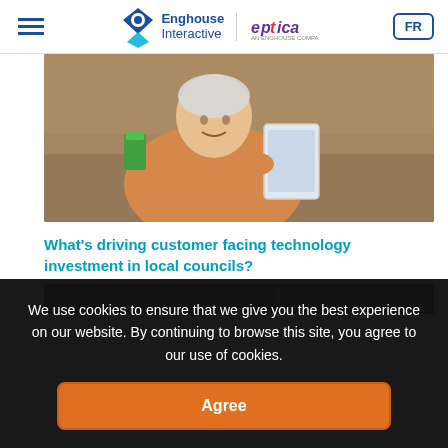Enghouse Interactive | eptica | FR
[Figure (photo): Elderly woman smiling and holding a tablet device, wearing an orange cardigan]
What's driving customer facing technology investment in local councils?
[Figure (photo): Partial view of a second article image, dark toned]
We use cookies to ensure that we give you the best experience on our website. By continuing to browse this site, you agree to our use of cookies.
Agree